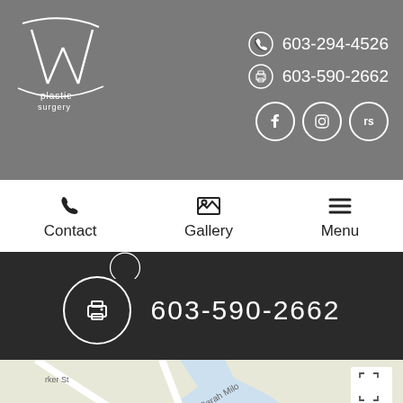[Figure (logo): W Plastic Surgery logo - stylized W with 'plastic surgery' text in white on gray background]
603-294-4526
603-590-2662
[Figure (other): Social media icons: Facebook, Instagram, RS - white circles on gray]
Contact
Gallery
Menu
603-590-2662
[Figure (map): Google Maps showing NH State Port Authority area with red location pin near Noucas Law Office]